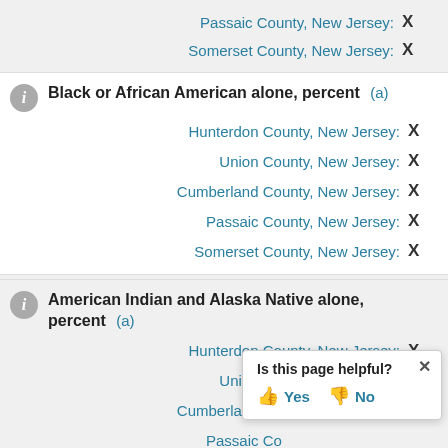Passaic County, New Jersey: X
Somerset County, New Jersey: X
Black or African American alone, percent (a)
Hunterdon County, New Jersey: X
Union County, New Jersey: X
Cumberland County, New Jersey: X
Passaic County, New Jersey: X
Somerset County, New Jersey: X
American Indian and Alaska Native alone, percent (a)
Hunterdon County, New Jersey: X
Union County, New Jersey: X
Cumberland County, New Jersey: X
Passaic County, New Jersey: X